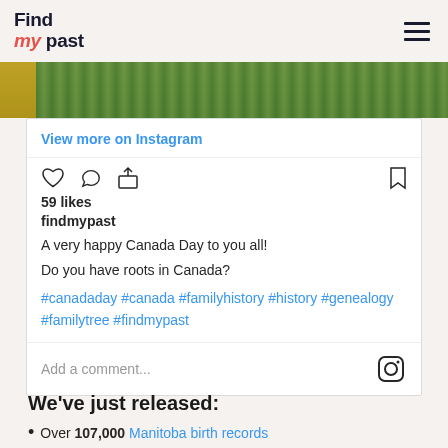Findmypast
[Figure (photo): Green foliage/tree canopy photo strip with partial yellow element at left]
View more on Instagram
59 likes
findmypast
A very happy Canada Day to you all!
Do you have roots in Canada?
#canadaday #canada #familyhistory #history #genealogy #familytree #findmypast
Add a comment...
We've just released:
Over 107,000 Manitoba birth records